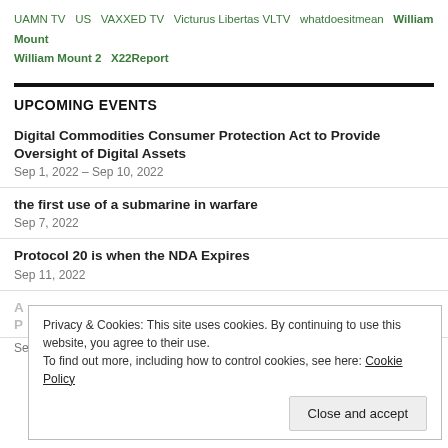UAMN TV  US  VAXXED TV  Victurus Libertas VLTV  whatdoesitmean  William Mount  William Mount 2  X22Report
UPCOMING EVENTS
Digital Commodities Consumer Protection Act to Provide Oversight of Digital Assets
Sep 1, 2022 – Sep 10, 2022
the first use of a submarine in warfare
Sep 7, 2022
Protocol 20 is when the NDA Expires
Sep 11, 2022
Privacy & Cookies: This site uses cookies. By continuing to use this website, you agree to their use.
To find out more, including how to control cookies, see here: Cookie Policy
Sep 21, 2022